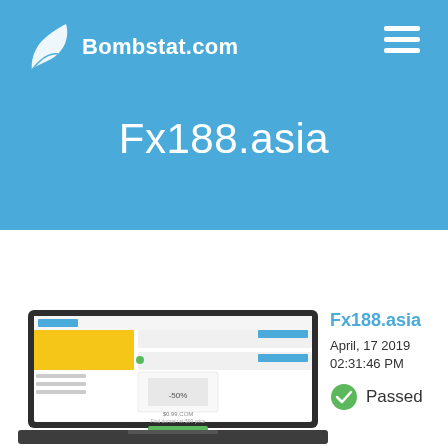[Figure (logo): Bombstat.com logo with green leaf icon and white text on blue background]
Fx188.asia
[Figure (screenshot): Screenshot of Fx188.asia website displayed inside a laptop frame, showing a GoDaddy-like domain page with yellow and green elements]
Fx188.asia
April, 17 2019 02:31:46 PM
Passed